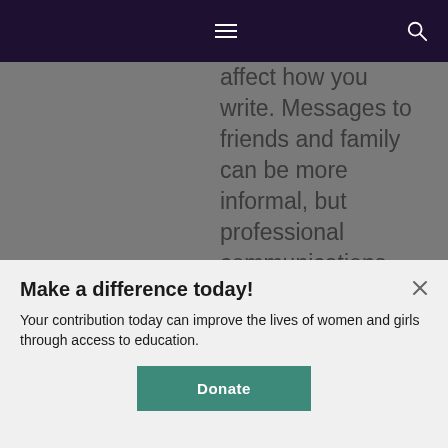Navigation header with menu and search icons
affect how you write. Messages to friends and family can be more informal, but professional communications should be more
Make a difference today!
Your contribution today can improve the lives of women and girls through access to education.
Donate